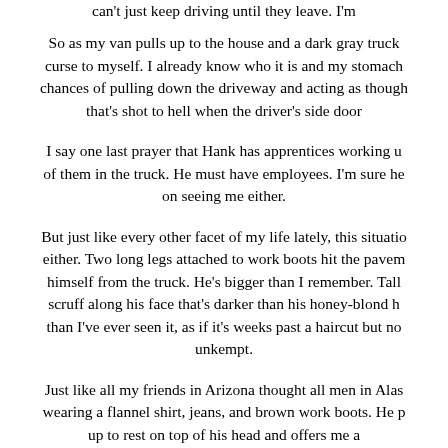can't just keep driving until they leave. I'm
So as my van pulls up to the house and a dark gray truck curse to myself. I already know who it is and my stomach chances of pulling down the driveway and acting as though that's shot to hell when the driver's side door
I say one last prayer that Hank has apprentices working of them in the truck. He must have employees. I'm sure he on seeing me either.
But just like every other facet of my life lately, this situation either. Two long legs attached to work boots hit the pavement himself from the truck. He's bigger than I remember. Tall scruff along his face that's darker than his honey-blond h than I've ever seen it, as if it's weeks past a haircut but no unkempt.
Just like all my friends in Arizona thought all men in Alas wearing a flannel shirt, jeans, and brown work boots. He p up to rest on top of his head and offers me a
I can only smile. Nausea hits my stomach as I turn off the